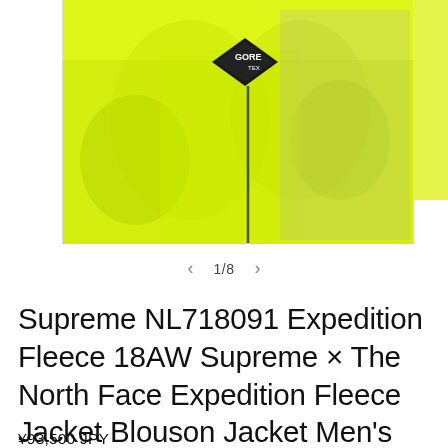[Figure (photo): Person wearing a bright neon yellow/lime Supreme x The North Face Expedition Fleece jacket with a GORE-TEX diamond patch logo on the chest, photographed from torso up against a light wall background.]
1/8
Supreme NL718091 Expedition Fleece 18AW Supreme × The North Face Expedition Fleece Jacket Blouson Jacket Men's
¥93,500 JPY